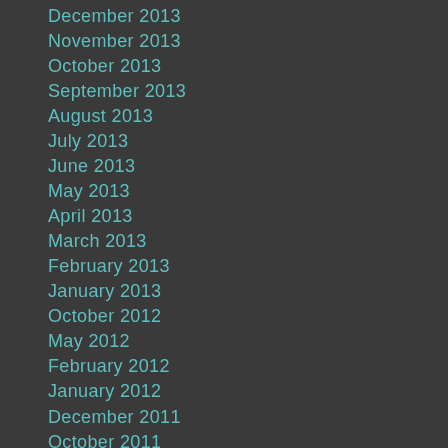December 2013
November 2013
October 2013
September 2013
August 2013
July 2013
June 2013
May 2013
April 2013
March 2013
February 2013
January 2013
October 2012
May 2012
February 2012
January 2012
December 2011
October 2011
September 2011
August 2011
July 2011